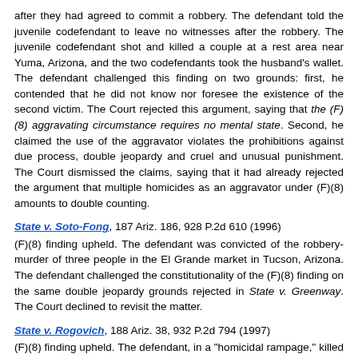after they had agreed to commit a robbery. The defendant told the juvenile codefendant to leave no witnesses after the robbery. The juvenile codefendant shot and killed a couple at a rest area near Yuma, Arizona, and the two codefendants took the husband's wallet. The defendant challenged this finding on two grounds: first, he contended that he did not know nor foresee the existence of the second victim. The Court rejected this argument, saying that the (F)(8) aggravating circumstance requires no mental state. Second, he claimed the use of the aggravator violates the prohibitions against due process, double jeopardy and cruel and unusual punishment. The Court dismissed the claims, saying that it had already rejected the argument that multiple homicides as an aggravator under (F)(8) amounts to double counting.
State v. Soto-Fong, 187 Ariz. 186, 928 P.2d 610 (1996)
(F)(8) finding upheld. The defendant was convicted of the robbery-murder of three people in the El Grande market in Tucson, Arizona. The defendant challenged the constitutionality of the (F)(8) finding on the same double jeopardy grounds rejected in State v. Greenway. The Court declined to revisit the matter.
State v. Rogovich, 188 Ariz. 38, 932 P.2d 794 (1997)
(F)(8) finding upheld. The defendant, in a "homicidal rampage," killed four people on the same day but in different places. One was a store clerk killed that morning, and three others were women who lived in a nearby trailer park killed that afternoon. The Court noted that the trial court had